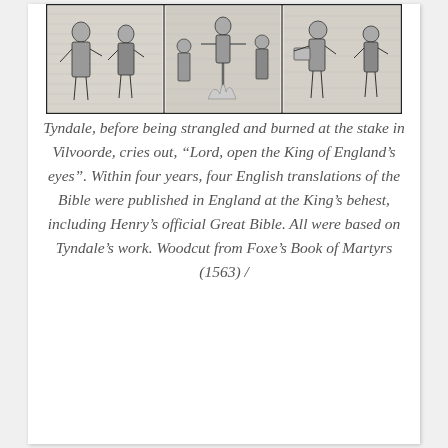[Figure (illustration): A woodcut illustration showing multiple scenes with figures, likely depicting Tyndale's martyrdom or related religious scenes, from Foxe's Book of Martyrs (1563).]
Tyndale, before being strangled and burned at the stake in Vilvoorde, cries out, “Lord, open the King of England’s eyes”. Within four years, four English translations of the Bible were published in England at the King’s behest, including Henry’s official Great Bible. All were based on Tyndale’s work. Woodcut from Foxe’s Book of Martyrs (1563) /